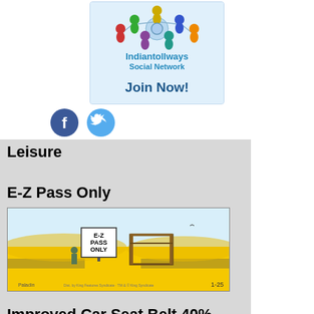[Figure (illustration): Indiantollways Social Network banner with colorful network figures and 'Join Now!' call to action]
[Figure (illustration): Facebook icon (blue circle with white 'f') and Twitter icon (light blue circle with white bird)]
Leisure
E-Z Pass Only
[Figure (illustration): Cartoon showing a desert road with an E-Z Pass Only sign and a toll booth structure, dated 1-25]
Improved Car Seat Belt 40% Less